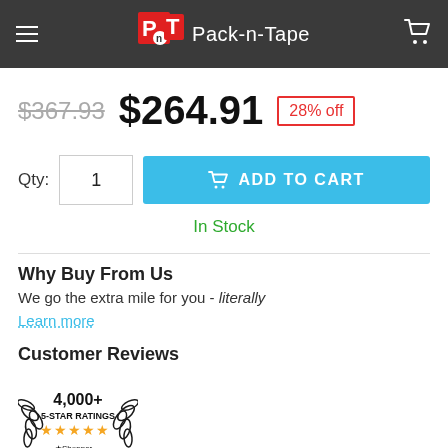Pack-n-Tape
$367.93  $264.91  28% off
Qty: 1  ADD TO CART
In Stock
Why Buy From Us
We go the extra mile for you - literally
Learn more
Customer Reviews
[Figure (logo): 4,000+ 5-STAR RATINGS badge with stars and Shopper Approved logo]